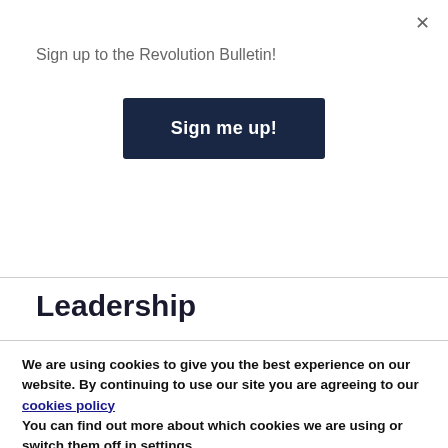Sign up to the Revolution Bulletin!
Sign me up!
×
Leadership
Capitalism has ceased to take humanity forward. It should long ago have been overthrown by the working class. Why hasn't it then? The key to answering that question lies in the role of leadership and of the
We are using cookies to give you the best experience on our website. By continuing to use our site you are agreeing to our cookies policy
You can find out more about which cookies we are using or switch them off in settings.
Accept